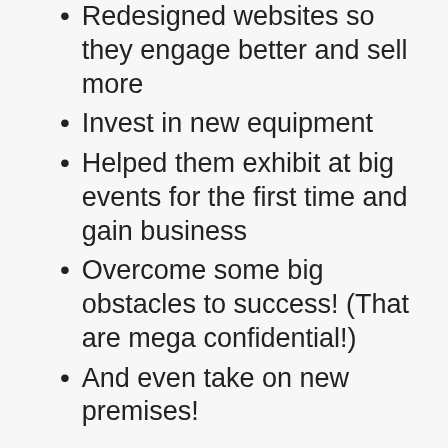Redesigned websites so they engage better and sell more
Invest in new equipment
Helped them exhibit at big events for the first time and gain business
Overcome some big obstacles to success! (That are mega confidential!)
And even take on new premises!
This week we shared a blog on the Insiders “The Knowledge” blog about 5 ways to get more out of the Insiders and they included advice on